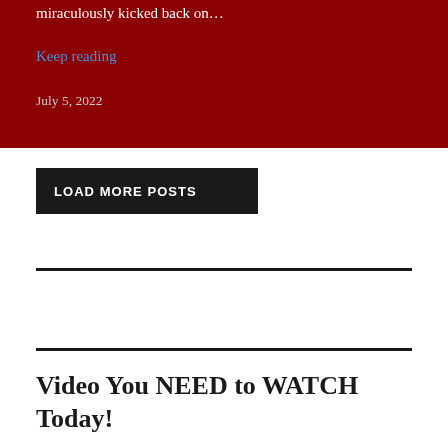miraculously kicked back on…
Keep reading
July 5, 2022
LOAD MORE POSTS
Video You NEED to WATCH Today!